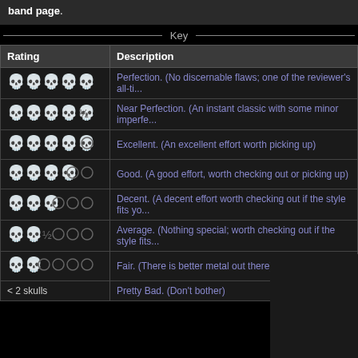band page.
Key
| Rating | Description |
| --- | --- |
| 💀💀💀💀💀 | Perfection. (No discernable flaws; one of the reviewer's all-ti... |
| 💀💀💀💀💀½ | Near Perfection. (An instant classic with some minor imperfe... |
| 💀💀💀💀💀○ | Excellent. (An excellent effort worth picking up) |
| 💀💀💀💀○○ | Good. (A good effort, worth checking out or picking up) |
| 💀💀💀○○○ | Decent. (A decent effort worth checking out if the style fits yo... |
| 💀💀½○○○ | Average. (Nothing special; worth checking out if the style fits... |
| 💀💀○○○○ | Fair. (There is better metal out there) |
| < 2 skulls | Pretty Bad. (Don't bother) |